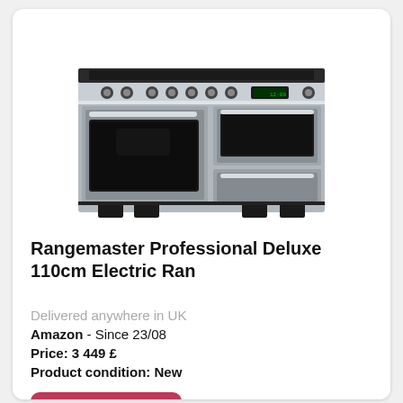[Figure (photo): Rangemaster Professional Deluxe 110cm electric range cooker in stainless steel, shown from front angle with induction hob, two ovens and a warming drawer.]
Rangemaster Professional Deluxe 110cm Electric Ran
Delivered anywhere in UK
Amazon  - Since 23/08
Price: 3 449 £
Product condition: New
See details